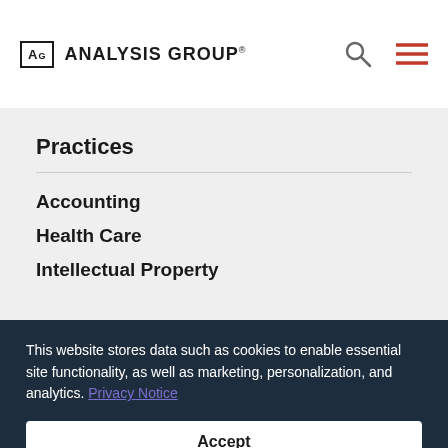AG ANALYSIS GROUP
Practices
Accounting
Health Care
Intellectual Property
This website stores data such as cookies to enable essential site functionality, as well as marketing, personalization, and analytics. Privacy Notice
Accept
Deny